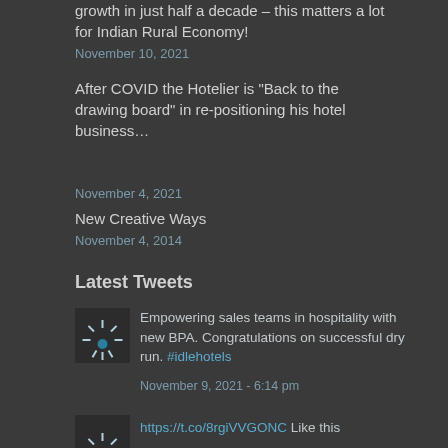growth in just half a decade – this matters a lot for Indian Rural Economy!
November 10, 2021
After COVID the Hotelier is "Back to the drawing board" in re-positioning his hotel business...
November 4, 2021
New Creative Ways
November 4, 2014
Latest Tweets
[Figure (logo): Circular logo with sun/light rays and blue dot on dark background]
Empowering sales teams in hospitality with new BPA. Congratulations on successful dry run. #idlehotels
November 9, 2021 - 6:14 pm
[Figure (logo): Partial logo visible at bottom]
https://t.co/8rgiVVGONC Like this